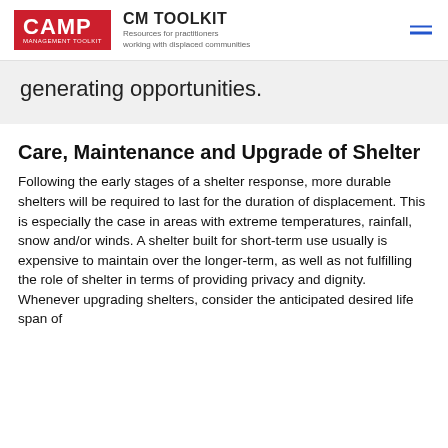CM TOOLKIT — Resources for practitioners working with displaced communities
generating opportunities.
Care, Maintenance and Upgrade of Shelter
Following the early stages of a shelter response, more durable shelters will be required to last for the duration of displacement. This is especially the case in areas with extreme temperatures, rainfall, snow and/or winds. A shelter built for short-term use usually is expensive to maintain over the longer-term, as well as not fulfilling the role of shelter in terms of providing privacy and dignity. Whenever upgrading shelters, consider the anticipated desired life span of